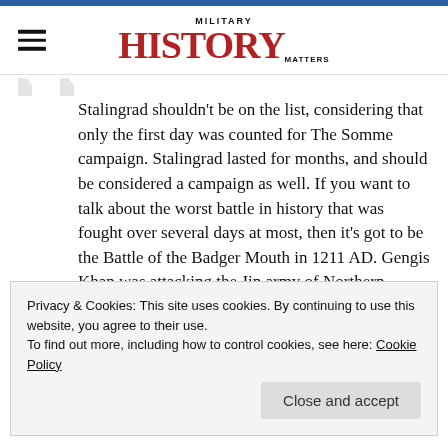MILITARY HISTORY MATTERS
Stalingrad shouldn't be on the list, considering that only the first day was counted for The Somme campaign. Stalingrad lasted for months, and should be considered a campaign as well. If you want to talk about the worst battle in history that was fought over several days at most, then it's got to be the Battle of the Badger Mouth in 1211 AD. Gengis Khan was attacking the Jin army of Northern China. Supposedly a half million Jin died.
Reply
Privacy & Cookies: This site uses cookies. By continuing to use this website, you agree to their use.
To find out more, including how to control cookies, see here: Cookie Policy